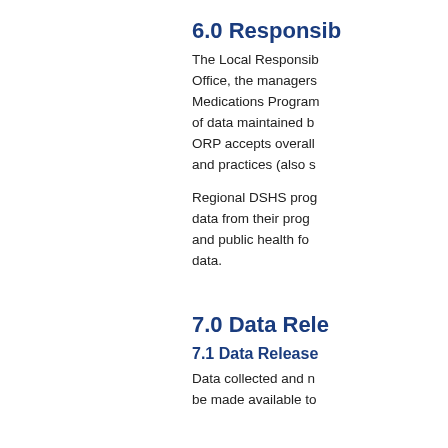6.0 Responsib
The Local Responsib Office, the managers Medications Program of data maintained b ORP accepts overall and practices (also s
Regional DSHS prog data from their prog and public health fo data.
7.0 Data Rele
7.1 Data Release
Data collected and n be made available to